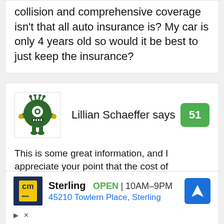collision and comprehensive coverage isn't that all auto insurance is? My car is only 4 years old so would it be best to just keep the insurance?
[Figure (illustration): Green monster cartoon avatar for user Lillian Schaeffer]
Lillian Schaeffer says
51
This is some great information, and I appreciate your point that the cost of homeowners insurance can be reduced by safety measures in the home. My husband and I are going to be installing a security system in our house, but I
[Figure (screenshot): Advertisement for Sterling store: cm logo, OPEN 10AM-9PM, 45210 Towlern Place, Sterling, with navigation arrow icon]